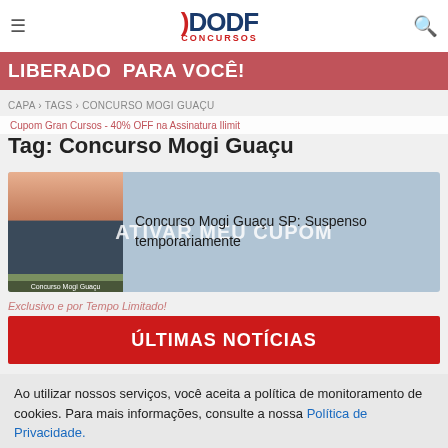DODF Concursos - logo header
LIBERADO PARA VOCÊ!
CAPA › TAGS › CONCURSO MOGI GUAÇU
Cupom Gran Cursos - 40% OFF na Assinatura Ilimit
Tag: Concurso Mogi Guaçu
[Figure (photo): Article card with thumbnail photo of Concurso Mogi Guaçu building with text 'Concurso Mogi Guaçu SP: Suspenso temporariamente']
Exclusivo e por Tempo Limitado!
ÚLTIMAS NOTÍCIAS
Ao utilizar nossos serviços, você aceita a política de monitoramento de cookies. Para mais informações, consulte a nossa Política de Privacidade.
ACEITO